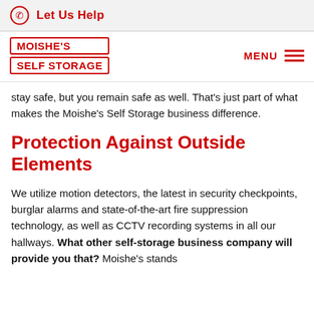Let Us Help
[Figure (logo): Moishe's Self Storage logo with red bordered text and MENU hamburger icon]
stay safe, but you remain safe as well. That's just part of what makes the Moishe's Self Storage business difference.
Protection Against Outside Elements
We utilize motion detectors, the latest in security checkpoints, burglar alarms and state-of-the-art fire suppression technology, as well as CCTV recording systems in all our hallways. What other self-storage business company will provide you that? Moishe's stands